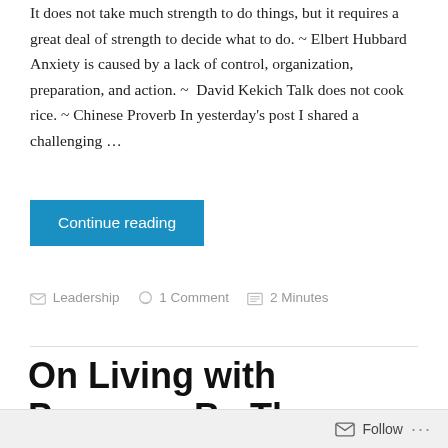It does not take much strength to do things, but it requires a great deal of strength to decide what to do. ~ Elbert Hubbard Anxiety is caused by a lack of control, organization, preparation, and action. ~  David Kekich Talk does not cook rice. ~ Chinese Proverb In yesterday's post I shared a challenging …
Continue reading
Leadership   1 Comment   2 Minutes
On Living with Purpose: Be There
Follow